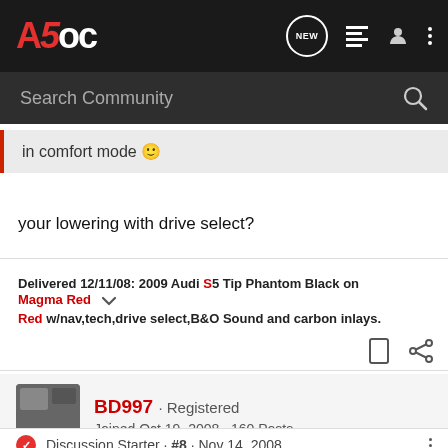A5OC — Search Community
in comfort mode 🙂
your lowering with drive select?
Delivered 12/11/08: 2009 Audi S5 Tip Phantom Black on Magma Red w/nav,tech,drive select,B&O Sound and carbon inlays.
BD997 · Registered
Joined Oct 19, 2008 · 160 Posts
Discussion Starter · #8 · Nov 14, 2008